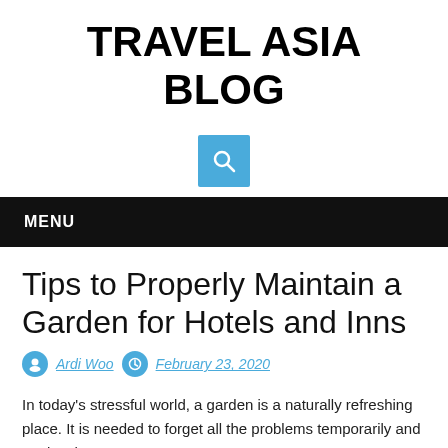TRAVEL ASIA BLOG
[Figure (other): Blue search icon button with magnifying glass]
MENU
Tips to Properly Maintain a Garden for Hotels and Inns
Ardi Woo   February 23, 2020
In today's stressful world, a garden is a naturally refreshing place. It is needed to forget all the problems temporarily and to give the